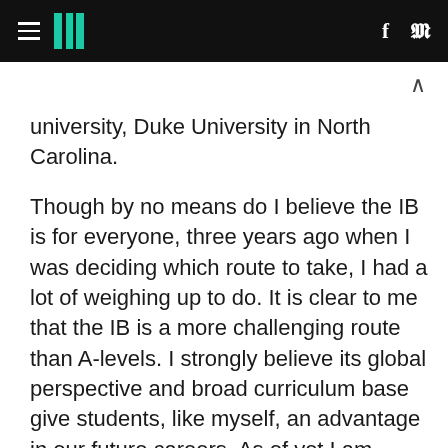HuffPost [hamburger menu, logo, f, twitter icons]
university, Duke University in North Carolina.
Though by no means do I believe the IB is for everyone, three years ago when I was deciding which route to take, I had a lot of weighing up to do. It is clear to me that the IB is a more challenging route than A-levels. I strongly believe its global perspective and broad curriculum base give students, like myself, an advantage in our future careers. As of yet I am undecided in what I would like to major in at University. Fortunately, the IB provided me with an excellent foundation